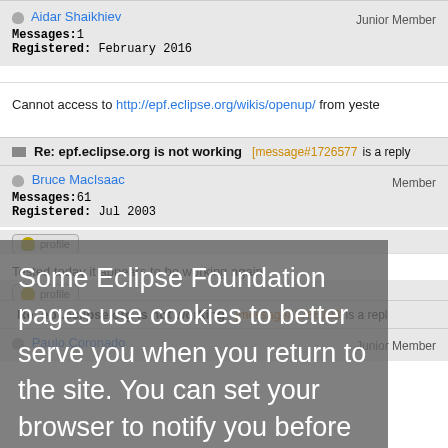Aidar Shaikhiev | Junior Member
Messages: 1
Registered: February 2016
Cannot access to http://epf.eclipse.org/wikis/openup/ from yester
Re: epf.eclipse.org is not working [message#1726577 is a reply
Bruce MacIsaac | Member
Messages: 61
Registered: Jul 2003
Tested today it appears to be working again.
Some Eclipse Foundation pages use cookies to better serve you when you return to the site. You can set your browser to notify you before you receive a cookie or turn off cookies. If you do so, however, some areas of some sites may not function properly. To read Eclipse Foundation Privacy Policy click here.
Decline | Allow cookies
Re: epf.eclipse.org is not working [message#1786108 is a repl
Paulo Coronado | Junior Member